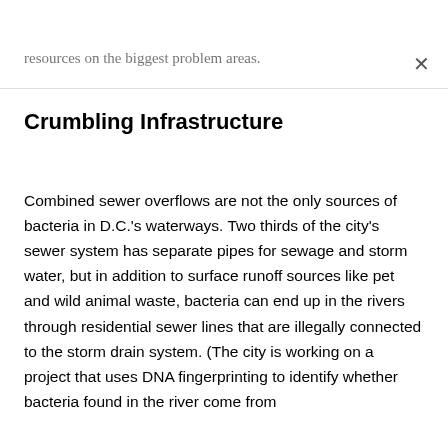resources on the biggest problem areas.
Crumbling Infrastructure
Combined sewer overflows are not the only sources of bacteria in D.C.'s waterways. Two thirds of the city's sewer system has separate pipes for sewage and storm water, but in addition to surface runoff sources like pet and wild animal waste, bacteria can end up in the rivers through residential sewer lines that are illegally connected to the storm drain system. (The city is working on a project that uses DNA fingerprinting to identify whether bacteria found in the river come from